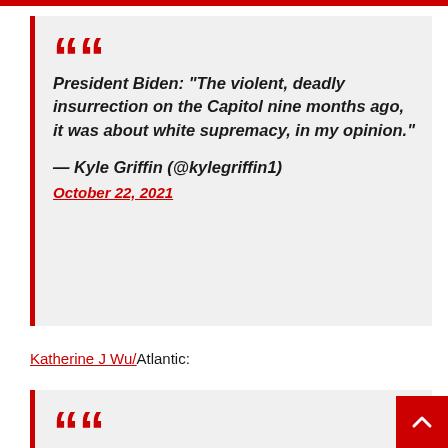President Biden: “The violent, deadly insurrection on the Capitol nine months ago, it was about white supremacy, in my opinion.” — Kyle Griffin (@kylegriffin1) October 22, 2021
Katherine J Wu/Atlantic:
No One Will Stop You From Getting Whatever Booster You Want